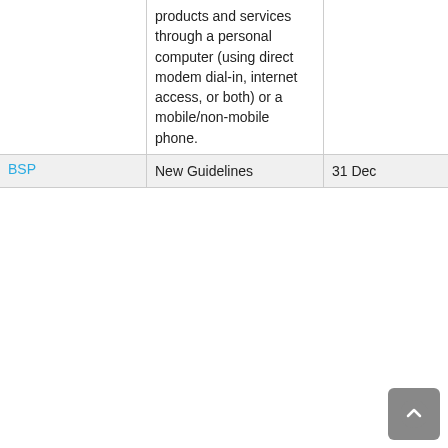| Organization | Description | Date |
| --- | --- | --- |
|  | products and services through a personal computer (using direct modem dial-in, internet access, or both) or a mobile/non-mobile phone. |  |
| BSP | New Guidelines | 31 Dec... |